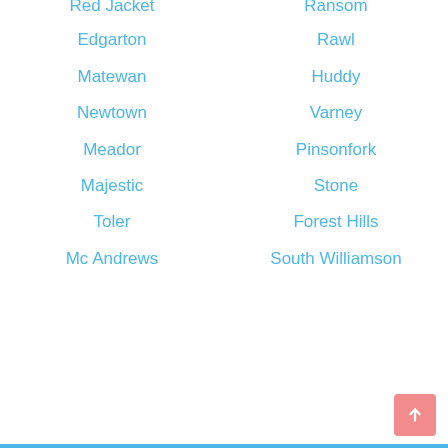Red Jacket
Ransom
Edgarton
Rawl
Matewan
Huddy
Newtown
Varney
Meador
Pinsonfork
Majestic
Stone
Toler
Forest Hills
Mc Andrews
South Williamson